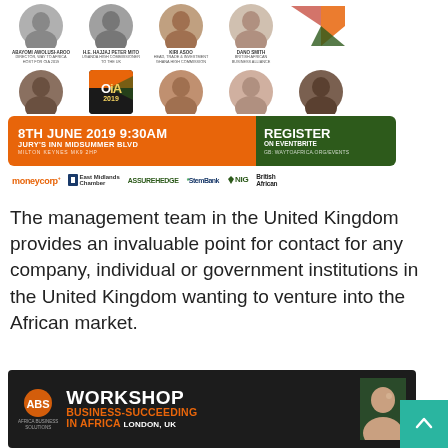[Figure (infographic): Event banner for OiA 2019 conference showing speaker headshots in two rows, event details bar with date 8th June 2019 9:30AM, Jury's Inn Midsummer Blvd, Milton Keynes MK9 2HP, Register on Eventbrite at waytoafrica.org/events, and sponsor logos including moneycorp, East Midlands Chamber, AssureHedge, StemBank, NIG, British African]
The management team in the United Kingdom provides an invaluable point for contact for any company, individual or government institutions in the United Kingdom wanting to venture into the African market.
[Figure (infographic): Workshop banner: ABS logo, WORKSHOP BUSINESS-SUCCEEDING IN AFRICA, LONDON, UK with woman smiling photo on dark background]